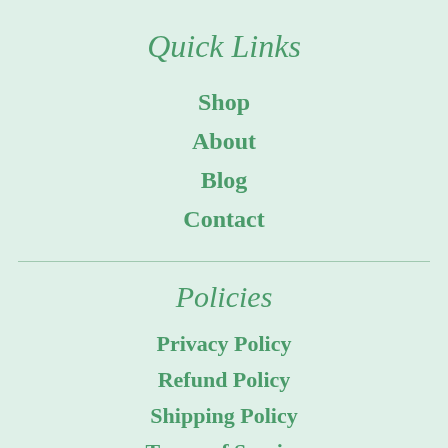Quick Links
Shop
About
Blog
Contact
Policies
Privacy Policy
Refund Policy
Shipping Policy
Terms of Service